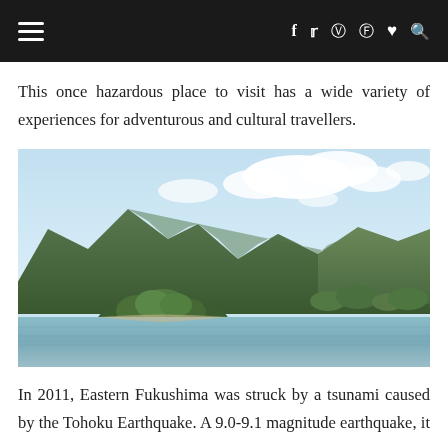Navigation bar with hamburger menu, social icons (f, twitter, instagram, pinterest, heart, search)
This once hazardous place to visit has a wide variety of experiences for adventurous and cultural travellers.
[Figure (photo): Scenic lake view with green forested mountains in the background under a partly cloudy blue sky, with a small tree-covered islet in the calm water. Location appears to be Fukushima, Japan.]
In 2011, Eastern Fukushima was struck by a tsunami caused by the Tohoku Earthquake. A 9.0-9.1 magnitude earthquake, it was an